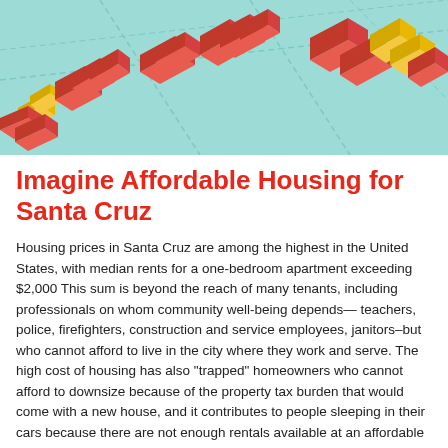[Figure (illustration): Isometric 3D map illustration showing buildings in red/salmon color with some yellow highlighted buildings on a teal/light blue background representing a neighborhood or city block layout.]
Imagine Affordable Housing for Santa Cruz
Housing prices in Santa Cruz are among the highest in the United States, with median rents for a one-bedroom apartment exceeding $2,000 This sum is beyond the reach of many tenants, including professionals on whom community well-being depends— teachers, police, firefighters, construction and service employees, janitors–but who cannot afford to live in the city where they work and serve. The high cost of housing has also "trapped" homeowners who cannot afford to downsize because of the property tax burden that would come with a new house, and it contributes to people sleeping in their cars because there are not enough rentals available at an affordable price.  What are we to do?